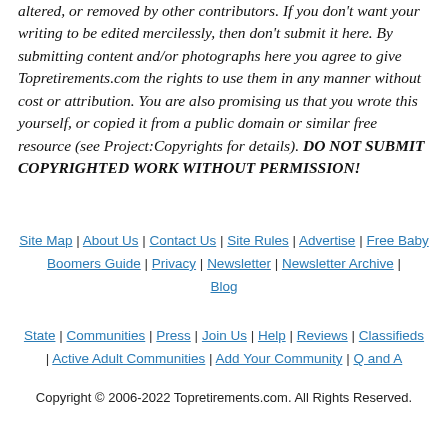altered, or removed by other contributors. If you don't want your writing to be edited mercilessly, then don't submit it here. By submitting content and/or photographs here you agree to give Topretirements.com the rights to use them in any manner without cost or attribution. You are also promising us that you wrote this yourself, or copied it from a public domain or similar free resource (see Project:Copyrights for details). DO NOT SUBMIT COPYRIGHTED WORK WITHOUT PERMISSION!
Site Map | About Us | Contact Us | Site Rules | Advertise | Free Baby Boomers Guide | Privacy | Newsletter | Newsletter Archive | Blog
State | Communities | Press | Join Us | Help | Reviews | Classifieds | Active Adult Communities | Add Your Community | Q and A
Copyright © 2006-2022 Topretirements.com. All Rights Reserved.